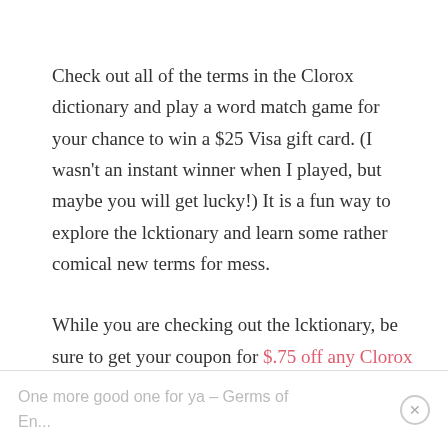Check out all of the terms in the Clorox dictionary and play a word match game for your chance to win a $25 Visa gift card. (I wasn't an instant winner when I played, but maybe you will get lucky!) It is a fun way to explore the lcktionary and learn some rather comical new terms for mess.
While you are checking out the lcktionary, be sure to get your coupon for $.75 off any Clorox product.
One more good one for ya – Germs of En...